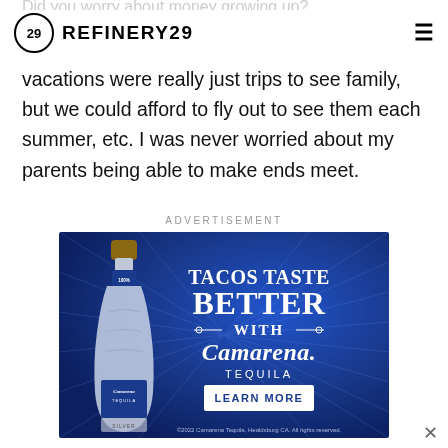REFINERY29
vacations were really just trips to see family, but we could afford to fly out to see them each summer, etc. I was never worried about my parents being able to make ends meet.
ADVERTISEMENT
[Figure (illustration): Camarena Tequila advertisement on blue background. Features a silver tequila bottle on the left and large white text reading 'TACOS TASTE BETTER WITH CAMARENA TEQUILA' with a 'LEARN MORE' button. Copyright 2022 Camarena Tequila, Healdsburg CA. All rights reserved.]